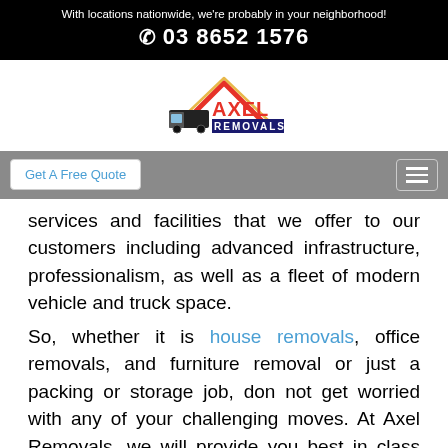With locations nationwide, we're probably in your neighborhood!
☎ 03 8652 1576
[Figure (logo): Axel Removals logo with red roof/house outline and moving truck, text AXEL REMOVALS]
Get A Free Quote  [hamburger menu]
services and facilities that we offer to our customers including advanced infrastructure, professionalism, as well as a fleet of modern vehicle and truck space.
So, whether it is house removals, office removals, and furniture removal or just a packing or storage job, don not get worried with any of your challenging moves. At Axel Removals, we will provide you best in class local and interstate removalist services in Booragoon, WA, Perth at the most competitive